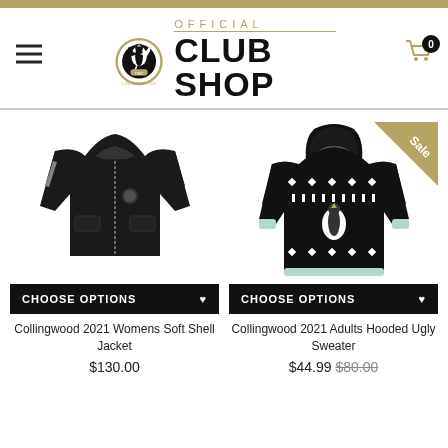[Figure (logo): Collingwood Official Club Shop header logo with magpie emblem and hamburger menu icon]
[Figure (photo): Black women's soft shell zip-up jacket with Collingwood badge]
CHOOSE OPTIONS ♥
Collingwood 2021 Womens Soft Shell Jacket
$130.00
[Figure (photo): Collingwood 2021 Adults Hooded Ugly Sweater - black and white patterned Christmas style, with Sale badge]
CHOOSE OPTIONS ♥
Collingwood 2021 Adults Hooded Ugly Sweater
$44.99 $80.00